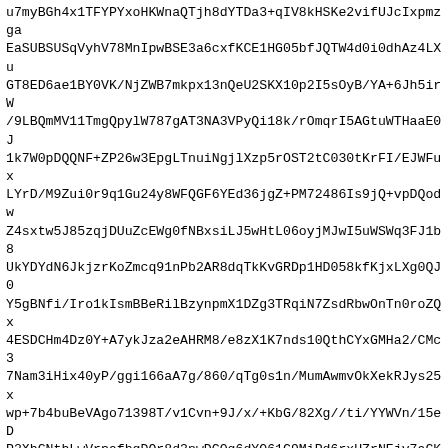u7myBGh4x1TFYPYxoHKWnaQTjh8dYTDa3+qIV8kHSKe2vifUJcIxpmzga EaSUBSUSqVyhV78MnIpwBSE3a6cxfKCE1HG05bfJQTW4d0i0dhAz4LXu GT8ED6ae1BY0VK/NjZWB7mkpx13nQeU2SKX10p2I5sOyB/YA+6Jh5irW /9LBQmMV11TmgQpylW787gAT3NA3VPyQi18k/rOmqrI5AGtuWTHaaE0J 1k7W0pDQQNF+ZP26w3EpgLTnuiNgjlXzp5rOST2tC030tKrFI/EJWFux LYrD/M9Zui0r9q1Gu24y8WFQGF6YEd36jgZ+PM72486Is9jQ+vpDQodw Z4sxtw5J85zqjDUuZcEWg0fNBxsiLJ5wHtL06oyjMJwI5uWSWq3FJ1b8 UkYDYdN6JkjzrKoZmcq91nPb2AR8dqTkKvGRDp1HD058kfKjxLXg0QJ0 Y5gBNfi/Iro1kIsmBBeRilBzynpmX1DZg3TRqiN7ZsdRbwOnTn0roZQx 4ESDCHm4Dz0Y+A7ykJza2eAHRM8/e8zX1K7nds10QthCYxGMHa2/CMc3 7Nam3iHix40yP/ggi166aA7g/860/qTg0s1n/MumAwmvOkXekRJys25x wp+7b4buBeVAgo71398T/v1Cvn+9J/x/+KbG/82Xg//ti/YYWVn/15eD P2XhGNthLwVrpafbgDQr8d3nwDCOq6dYO61C9MiPd6rxUZrNEjv7aGKx B/Z+Xi3v2wLkqdbmirqfXD7/cdGe+58X7an7erW8PO3d7nEwNL2tA1Z3 /O4fnZ5OsruOns7erpyejk/cqx6q/GgXq/Thb4+rbKF3dP64Z+/X9pW+ 38H13d1Ctr6d31CtALnAEV1rpM+5zuXvW/bKOIdQuskF7JjgJ/RpchAB BN3AjFCW+qENxs1WTd8x0ccipaNgIwmbQDgUxI6j+AAsWdQFDFhrm7QV Fn0BFCDRatM6cR0uqjiNwzrAFyVU+z2zvJ0bEyxtokF3mj7cdSW8kbyh jfE/jlrOBixd5sSY1kfihDqPPD89sbk5Om+q+CAmdPV/WujByrH4pYrM 6LsbOFSmF5+QgvVdsJBIIzJ7EZixnpGPZdUTRI66PoWwh0V8AU1stsFE CzkKJ9oY4pSA5YO6dFOfW7+pXQKop+sVNssWNMGSp8fYKBqHSNzelh0t wEo5hQQ3MtXUQGCHrRqDDocPstm/5YL7IC3Y3A291WsajiXZL+oxMWXy XulKFpiRdg+u7YLEzzv0k+26olqs7RDjBDn2rVYd18BQuRHP9OeYQOCJ XjNwtDIJEtgupYAZVJjhfq1yDA5WUVhXCUPtcoxh0mBZK+k2uvr3WFaF xvpRaUxxkWL91qnAAjed+cxVxtFgjb4RZAs2y4KBoXVWC2noHmsii nw9 MOuWWUG5NIMO2Sv0JZBOnIvQ+mOvFi1G77uwr1oFYqg0B0uskDI2NS5a 9h8ZOXTu2sT65MMoPfSWufkRYY11fHTB2XXmy/ajPsbY681ZULBkCTXY K1GMm41GJc5wC0bdqpdEgJOLtCHqsXxx2KXrtZSARZOLBJJynsAS9Vq+ EQ5zOGLSdpGLfBYOnCGmI+WkC/y6Wf+6w7Fp76hVb0nGSadFCSdHYxY KIADoyiT0JyHDqRchqcdGOST/MtFYNSMEWG1w+D+AyoyiGdmD372sh